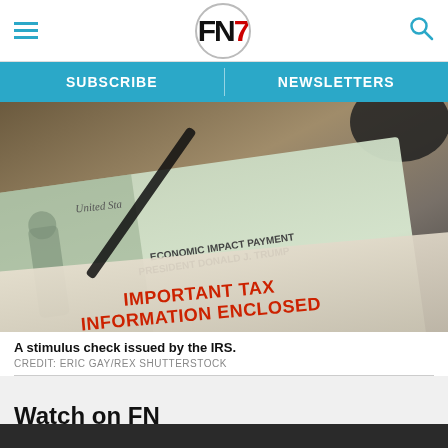FN7 — SUBSCRIBE | NEWSLETTERS
[Figure (photo): A stimulus check issued by the IRS, showing 'Economic Impact Payment President Donald J. Trump' and envelope text 'IMPORTANT TAX INFORMATION ENCLOSED']
A stimulus check issued by the IRS.
CREDIT: ERIC GAY/REX SHUTTERSTOCK
Watch on FN